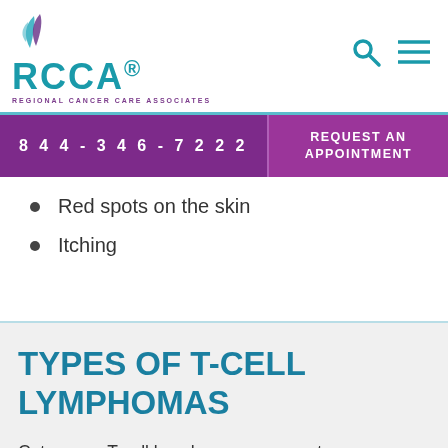RCCA - REGIONAL CANCER CARE ASSOCIATES
844-346-7222 | REQUEST AN APPOINTMENT
Red spots on the skin
Itching
TYPES OF T-CELL LYMPHOMAS
Cutaneous T-cell lymphomas represent a